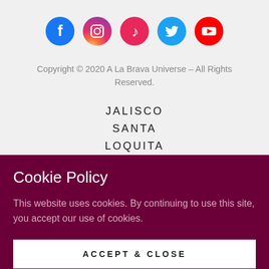[Figure (illustration): Row of 5 social media icons: Facebook (blue circle), Instagram (gradient pink/red circle), TikTok (red/pink circle), Twitter (blue circle), YouTube (red circle)]
Copyright © 2020 A La Brava Universe – All Rights Reserved.
JALISCO
SANTA
LOQUITA
Cookie Policy
This website uses cookies. By continuing to use this site, you accept our use of cookies.
ACCEPT & CLOSE